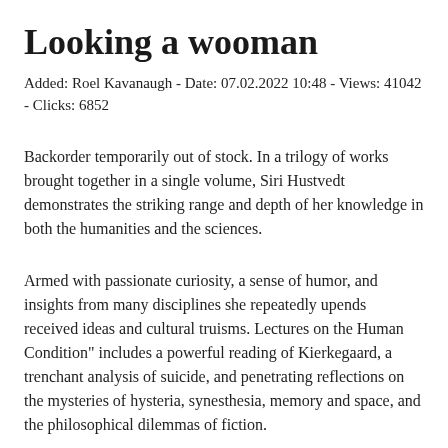Looking a wooman
Added: Roel Kavanaugh - Date: 07.02.2022 10:48 - Views: 41042 - Clicks: 6852
Backorder temporarily out of stock. In a trilogy of works brought together in a single volume, Siri Hustvedt demonstrates the striking range and depth of her knowledge in both the humanities and the sciences.
Armed with passionate curiosity, a sense of humor, and insights from many disciplines she repeatedly upends received ideas and cultural truisms. Lectures on the Human Condition" includes a powerful reading of Kierkegaard, a trenchant analysis of suicide, and penetrating reflections on the mysteries of hysteria, synesthesia, memory and space, and the philosophical dilemmas of fiction.